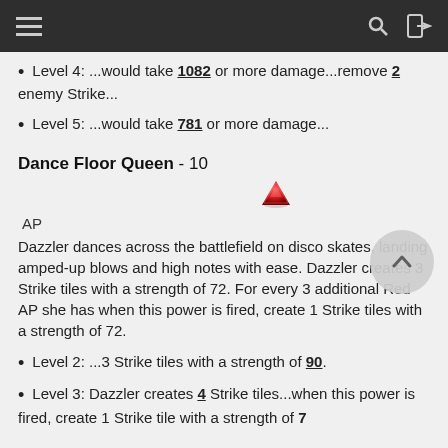Navigation bar with hamburger menu, search, and exit icons
Level 4: ...would take 1082 or more damage...remove 2 enemy Strike...
Level 5: ...would take 781 or more damage...
Dance Floor Queen - 10
[Figure (illustration): Red AP gem icon (red triangle/gem emoji)]
AP
Dazzler dances across the battlefield on disco skates, landing amped-up blows and high notes with ease. Dazzler creates 3 Strike tiles with a strength of 72. For every 3 additional Red AP she has when this power is fired, create 1 Strike tiles with a strength of 72.
Level 2: ...3 Strike tiles with a strength of 90.
Level 3: Dazzler creates 4 Strike tiles...when this power is fired, create 1 Strike tile with a strength of 79.